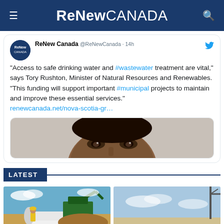ReNew CANADA
ReNew Canada @ReNewCanada · 14h
"Access to safe drinking water and #wastewater treatment are vital," says Tory Rushton, Minister of Natural Resources and Renewables. "This funding will support important #municipal projects to maintain and improve these essential services."
renewcanada.net/nova-scotia-gr…
[Figure (photo): Cropped close-up photo of a person's eyes and forehead]
LATEST
[Figure (photo): Construction site with excavator and large pipe, workers in yellow vests]
[Figure (photo): Outdoor landscape/infrastructure photo with blue sky]